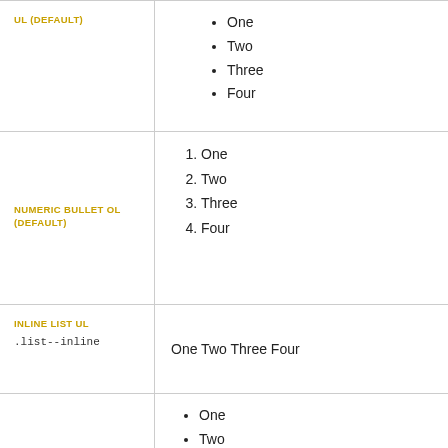UL (DEFAULT)
One
Two
Three
Four
NUMERIC BULLET OL (DEFAULT)
1. One
2. Two
3. Three
4. Four
INLINE LIST UL
.list--inline
One Two Three Four
One
Two
Three, with child list